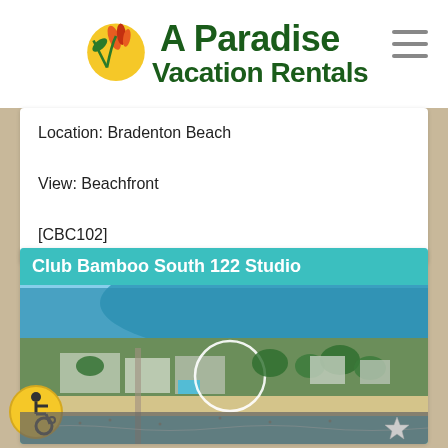[Figure (logo): A Paradise Vacation Rentals logo with bird of paradise flower icon]
Location: Bradenton Beach
View: Beachfront
[CBC102]
Club Bamboo South 122 Studio
[Figure (photo): Aerial photograph of beachfront property showing Club Bamboo South on Anna Maria Island, Florida, with Gulf of Mexico beach, buildings, and waterway visible from above. A circle highlights the specific property.]